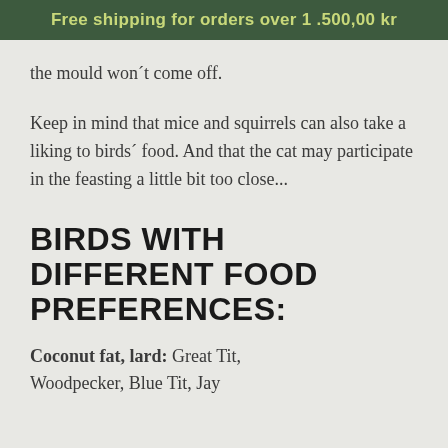Free shipping for orders over 1 .500,00 kr
the mould won´t come off.
Keep in mind that mice and squirrels can also take a liking to birds´ food. And that the cat may participate in the feasting a little bit too close...
BIRDS WITH DIFFERENT FOOD PREFERENCES:
Coconut fat, lard: Great Tit, Woodpecker, Blue Tit, Jay